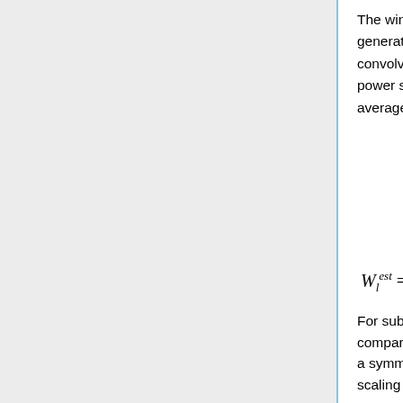The window functions are estimated by performing Monte-Carlo simulations. We generate several random realisations of the CMB sky starting from a given fiducial C_l, convolve the maps with the pre-computed effective beams, compute the convolved power spectra C_l^conv, divide by the power spectra of the unconvolved map C_l^in and average over their ratio. Thus, the estimated window function
For subtle reasons, we perform a more rigorous estimation of the window function by comparing C^{conv}_l with convolved power spectra of the input maps convolved with a symmetric Gaussian beam of comparable (but need not be exact) size and then scaling the estimated window function applied